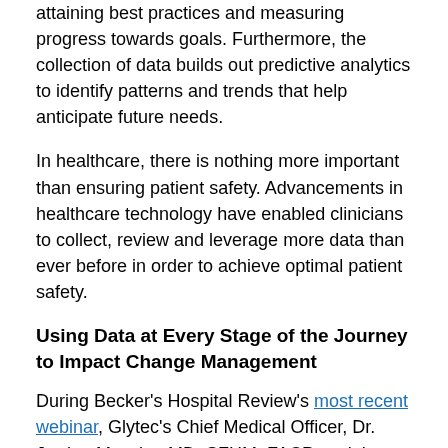attaining best practices and measuring progress towards goals. Furthermore, the collection of data builds out predictive analytics to identify patterns and trends that help anticipate future needs.
In healthcare, there is nothing more important than ensuring patient safety. Advancements in healthcare technology have enabled clinicians to collect, review and leverage more data than ever before in order to achieve optimal patient safety.
Using Data at Every Stage of the Journey to Impact Change Management
During Becker's Hospital Review's most recent webinar, Glytec's Chief Medical Officer, Dr. Jordan Messler, MD, SFHM, FACP, and the University of New Mexico Health Sciences in Albuquerque's Dr. Kendall Rogers, MD, CPE, FACP, SFHM, discussed how to use data at every stage